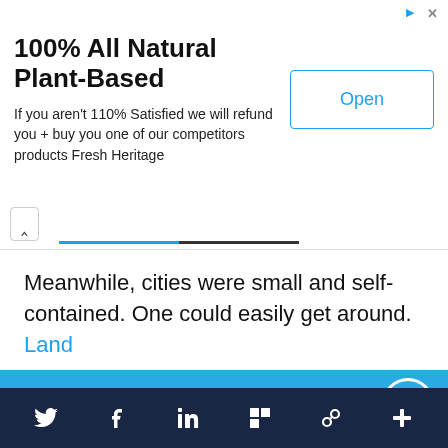[Figure (screenshot): Advertisement banner: '100% All Natural Plant-Based' with Open button]
Meanwhile, cities were small and self-contained. One could easily get around. Land
Support IA
Subscribe to IA and investigate Australia today.
Close  Subscribe  Donate
Twitter, Facebook, LinkedIn, Flipboard, Link, More icons